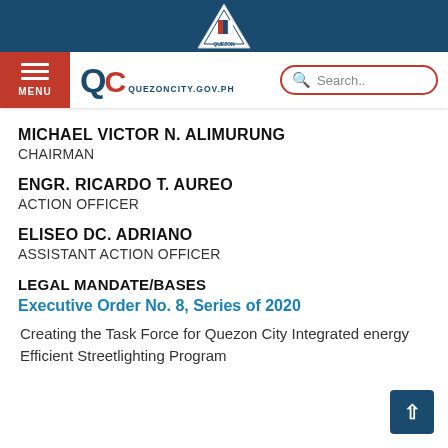QC QUEZONCITY.GOV.PH | Search..
MICHAEL VICTOR N. ALIMURUNG
CHAIRMAN
ENGR. RICARDO T. AUREO
ACTION OFFICER
ELISEO DC. ADRIANO
ASSISTANT ACTION OFFICER
LEGAL MANDATE/BASES
Executive Order No. 8, Series of 2020
Creating the Task Force for Quezon City Integrated energy Efficient Streetlighting Program